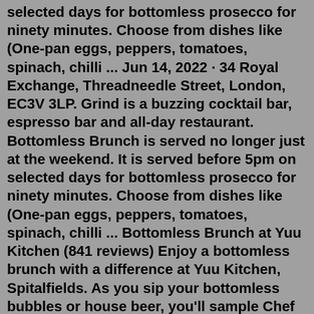selected days for bottomless prosecco for ninety minutes. Choose from dishes like (One-pan eggs, peppers, tomatoes, spinach, chilli ... Jun 14, 2022 · 34 Royal Exchange, Threadneedle Street, London, EC3V 3LP. Grind is a buzzing cocktail bar, espresso bar and all-day restaurant. Bottomless Brunch is served no longer just at the weekend. It is served before 5pm on selected days for bottomless prosecco for ninety minutes. Choose from dishes like (One-pan eggs, peppers, tomatoes, spinach, chilli ... Bottomless Brunch at Yuu Kitchen (841 reviews) Enjoy a bottomless brunch with a difference at Yuu Kitchen, Spitalfields. As you sip your bottomless bubbles or house beer, you'll sample Chef Jon's 10 course tasting menu, featuring authentic Japanese and South-East Asian flavours. Spitalfields 29 Commercial Street, London, E1 6NE £30-50 ChilledMar 27, 2021 · 147 Curtain Rd, Shoreditch, London EC2A 3QE. Haché Burger Social do a weekend bottomless brunch consisting of two courses and (for the Boozy Brunch) sliced Black Magic Burger on some choice